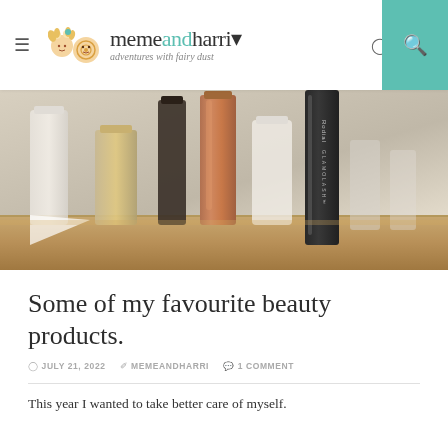memeandharri · adventures with fairy dust
[Figure (photo): A row of beauty and makeup products including foundation bottles, a copper-coloured tube, and a black Rodial Glamolash mascara, arranged on a wooden surface with a light background.]
Some of my favourite beauty products.
JULY 21, 2022 · MEMEANDHARRI · 1 COMMENT
This year I wanted to take better care of myself.